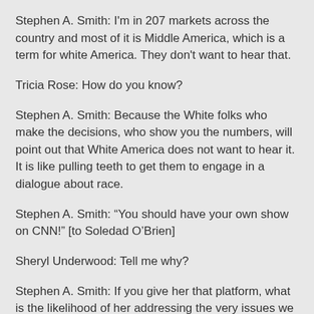Stephen A. Smith: I'm in 207 markets across the country and most of it is Middle America, which is a term for white America.  They don't want to hear that.
Tricia Rose: How do you know?
Stephen A. Smith: Because the White folks who make the decisions, who show you the numbers, will point out that White America does not want to hear it.  It is like pulling teeth to get them to engage in a dialogue about race.
Stephen A. Smith: “You should have your own show on CNN!” [to Soledad O’Brien]
Sheryl Underwood: Tell me why?
Stephen A. Smith: If you give her that platform, what is the likelihood of her addressing the very issues we are discussing?  She is not going to hesitate. (Bell)